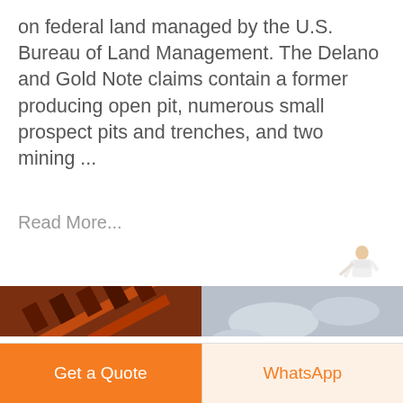on federal land managed by the U.S. Bureau of Land Management. The Delano and Gold Note claims contain a former producing open pit, numerous small prospect pits and trenches, and two mining ...
Read More...
[Figure (photo): Two side-by-side photos: left shows close-up of red industrial mining machinery with gears and conveyor belt paddles; right shows a large mobile stone crushing/screening plant on an open ground area with overcast sky. Both images have a 'THIDE' logo watermark.]
Foraging on former mining land : foraginguk
Get a Quote
WhatsApp